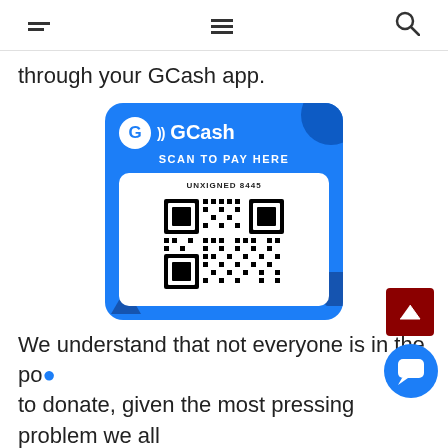Navigation header with two hamburger menu icons and a search icon
through your GCash app.
[Figure (other): GCash QR code payment card with blue background showing GCash logo, 'SCAN TO PAY HERE' text, and a QR code labeled 'UNXIGNED 8445']
We understand that not everyone is in the po... to donate, given the most pressing problem we all